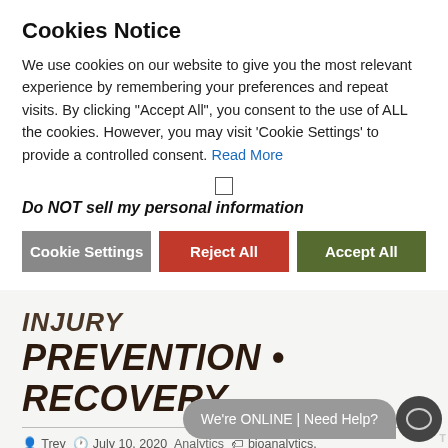Cookies Notice
We use cookies on our website to give you the most relevant experience by remembering your preferences and repeat visits. By clicking “Accept All”, you consent to the use of ALL the cookies. However, you may visit ‘Cookie Settings’ to provide a controlled consent. Read More
Do NOT sell my personal information
Cookie Settings  Reject All  Accept All
INJURY PREVENTION • RECOVERY
Trey  July 10, 2020  Analytics  bioanalytics, biomarker, bloo... recovery
We’re ONLINE | Need Help?